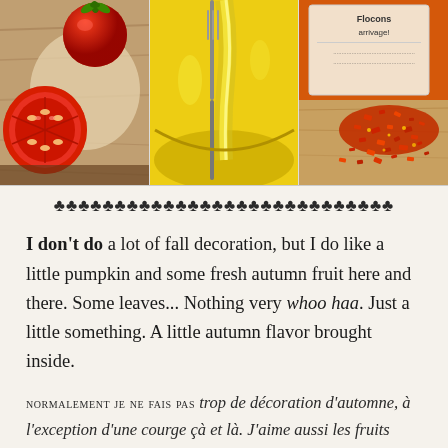[Figure (photo): Three food photos side by side: left shows red tomatoes and sliced tomato on wooden board, center shows olive oil being poured with yellow background, right shows dried red chili flakes spilling from a package labeled 'Flocons ... arrivage!']
♣♣♣♣♣♣♣♣♣♣♣♣♣♣♣♣♣♣♣♣♣♣♣♣♣♣♣♣
I don't do a lot of fall decoration, but I do like a little pumpkin and some fresh autumn fruit here and there. Some leaves... Nothing very whoo haa. Just a little something. A little autumn flavor brought inside.
NORMALEMENT JE NE FAIS PAS trop de décoration d'automne, à l'exception d'une courge çà et là. J'aime aussi les fruits saisonnales en